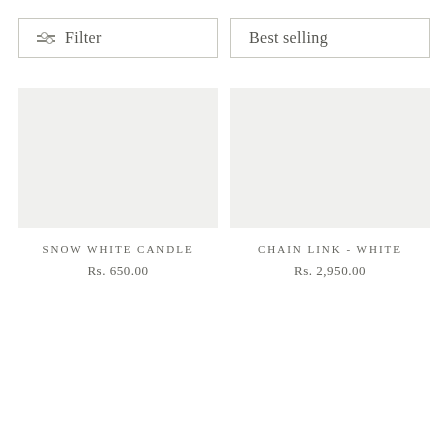Filter
Best selling
SNOW WHITE CANDLE
Rs. 650.00
CHAIN LINK - WHITE
Rs. 2,950.00